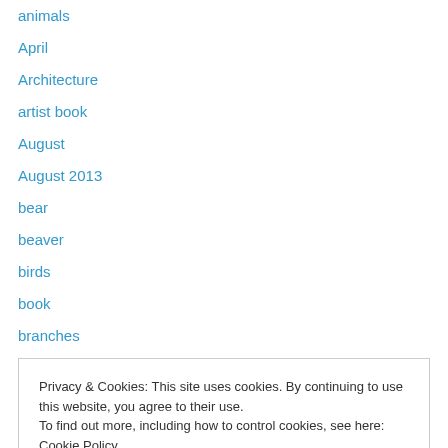animals
April
Architecture
artist book
August
August 2013
bear
beaver
birds
book
branches
calla fogarty
calm
Privacy & Cookies: This site uses cookies. By continuing to use this website, you agree to their use.
To find out more, including how to control cookies, see here: Cookie Policy
color study